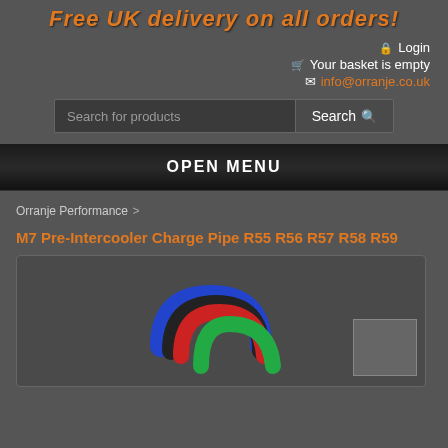Free UK delivery on all orders!
Login
Your basket is empty
info@orranje.co.uk
Search for products  Search
OPEN MENU
Orranje Performance >
M7 Pre-Intercooler Charge Pipe R55 R56 R57 R58 R59
[Figure (photo): Product photo showing multiple colored (blue, black, red, green) silicone/rubber charge pipes for MINI Cooper R55-R59 models, with a small thumbnail image in the bottom right corner.]